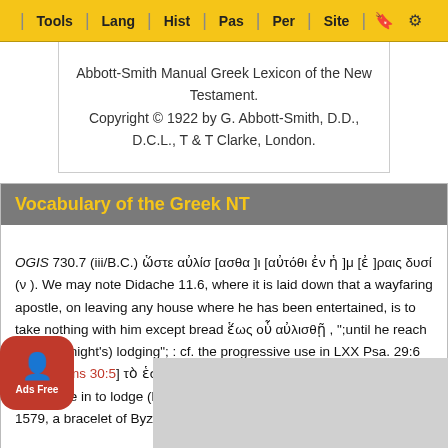Tools | Lang | Hist | Pas | Per | Site
Abbott-Smith Manual Greek Lexicon of the New Testament.
Copyright © 1922 by G. Abbott-Smith, D.D., D.C.L., T & T Clarke, London.
Vocabulary of the Greek NT
OGIS 730.7 (iii/B.C.) ὥστε αὐλίσ [ασθα ]ι [αὐτόθι ἐν ἡ ]μ [ἐ ]ραις δυσί (ν ). We may note Didache 11.6, where it is laid down that a wayfaring apostle, on leaving any house where he has been entertained, is to take nothing with him except bread ἕως οὗ αὐλισθῇ , ";until he reach his (next night's) lodging"; : cf. the progressive use in LXX Psa. 29:6 [MT Psalms 30:5] τὸ ἑσπέρας αὐλισθήσεται κλαυθμός , ";weeping may come in to lodge (like a passing stranger) at even,"; In Preisigke 1579, a bracelet of Byzantine... an amulet... spelling...